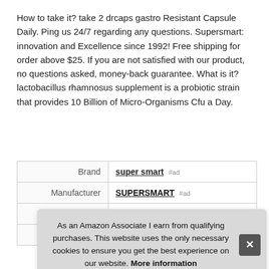How to take it? take 2 drcaps gastro Resistant Capsule Daily. Ping us 24/7 regarding any questions. Supersmart: innovation and Excellence since 1992! Free shipping for order above $25. If you are not satisfied with our product, no questions asked, money-back guarantee. What is it? lactobacillus rhamnosus supplement is a probiotic strain that provides 10 Billion of Micro-Organisms Cfu a Day.
|  |  |
| --- | --- |
| Brand | super smart #ad |
| Manufacturer | SUPERSMART #ad |
| Height | 4 Inches |
| P |  |
As an Amazon Associate I earn from qualifying purchases. This website uses the only necessary cookies to ensure you get the best experience on our website. More information